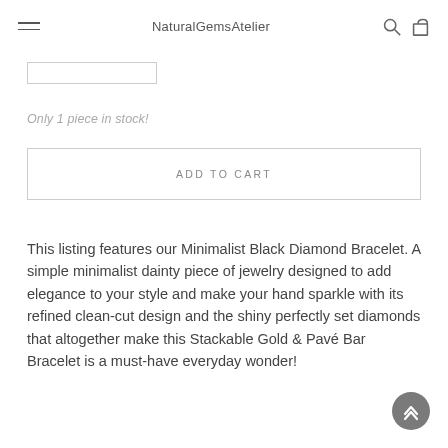NaturalGemsAtelier
[Figure (other): Quantity input box (empty, light border)]
Only 1 piece in stock!
ADD TO CART
This listing features our Minimalist Black Diamond Bracelet. A simple minimalist dainty piece of jewelry designed to add elegance to your style and make your hand sparkle with its refined clean-cut design and the shiny perfectly set diamonds that altogether make this Stackable Gold & Pavé Bar Bracelet is a must-have everyday wonder!